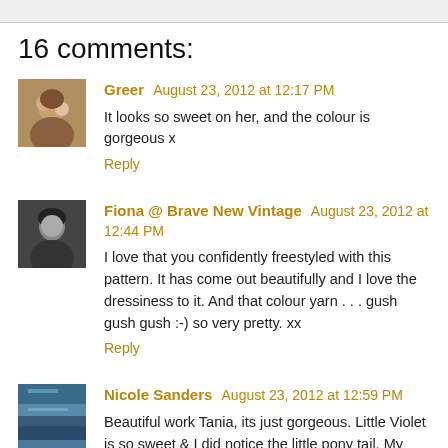16 comments:
Greer  August 23, 2012 at 12:17 PM
It looks so sweet on her, and the colour is gorgeous x
Reply
Fiona @ Brave New Vintage  August 23, 2012 at 12:44 PM
I love that you confidently freestyled with this pattern. It has come out beautifully and I love the dressiness to it. And that colour yarn . . . gush gush gush :-) so very pretty. xx
Reply
Nicole Sanders  August 23, 2012 at 12:59 PM
Beautiful work Tania, its just gorgeous. Little Violet is so sweet & I did notice the little pony tail. My little miss cheeky